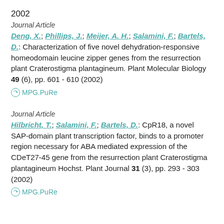2002
Journal Article
Deng, X.; Phillips, J.; Meijer, A. H.; Salamini, F.; Bartels, D.: Characterization of five novel dehydration-responsive homeodomain leucine zipper genes from the resurrection plant Craterostigma plantagineum. Plant Molecular Biology 49 (6), pp. 601 - 610 (2002)
MPG.PuRe
Journal Article
Hilbricht, T.; Salamini, F.; Bartels, D.: CpR18, a novel SAP-domain plant transcription factor, binds to a promoter region necessary for ABA mediated expression of the CDeT27-45 gene from the resurrection plant Craterostigma plantagineum Hochst. Plant Journal 31 (3), pp. 293 - 303 (2002)
MPG.PuRe